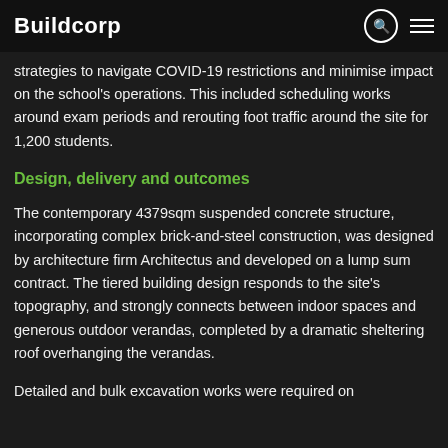Buildcorp
strategies to navigate COVID-19 restrictions and minimise impact on the school's operations. This included scheduling works around exam periods and rerouting foot traffic around the site for 1,200 students.
Design, delivery and outcomes
The contemporary 4379sqm suspended concrete structure, incorporating complex brick-and-steel construction, was designed by architecture firm Architectus and developed on a lump sum contract. The tiered building design responds to the site's topography, and strongly connects between indoor spaces and generous outdoor verandas, completed by a dramatic sheltering roof overhanging the verandas.
Detailed and bulk excavation works were required on